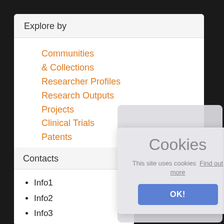Explore by
Communities & Collections
Researcher Profiles
Research Outputs
Projects
Clinical Trials
Patents
Research Centers
Expertise
Contacts
Info1
Info2
Info3
Cookies
This site uses cookies  Find out more
OK!